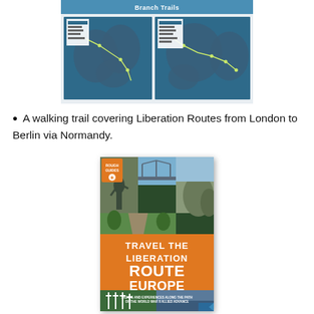[Figure (map): Map showing Liberation Route Branch Trails across Europe, two panels side by side with blue background showing route lines]
A walking trail covering Liberation Routes from London to Berlin via Normandy.
[Figure (photo): Book cover of 'Travel the Liberation Route Europe' by Rough Guides, featuring collage of WWII memorial sites, a cemetery with white crosses, a statue, a bridge, and rocky cliffs. Orange banner with title text. Subtitle: Sights and experiences along the path of the World War II Allied Advance.]